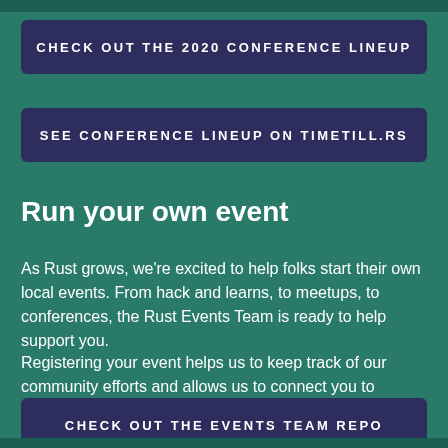CHECK OUT THE 2020 CONFERENCE LINEUP
SEE CONFERENCE LINEUP ON TIMETILL.RS
Run your own event
As Rust grows, we're excited to help folks start their own local events. From hack and learns, to meetups, to conferences, the Rust Events Team is ready to help support you.
Registering your event helps us to keep track of our community efforts and allows us to connect you to speakers or other members in your area.
CHECK OUT THE EVENTS TEAM REPO